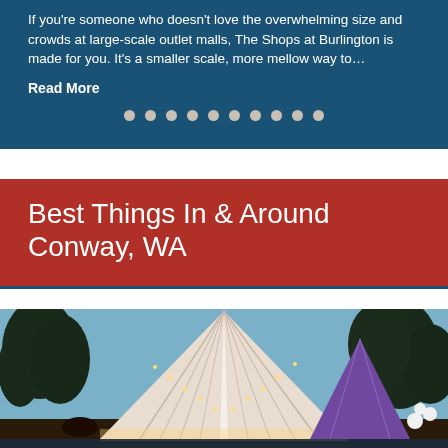If you're someone who doesn't love the overwhelming size and crowds at large-scale outlet malls, The Shops at Burlington is made for you. It's a smaller scale, more mellow way to…
Read More
[Figure (other): Pagination dots row with 10 circular indicators]
Best Things In & Around Conway, WA
[Figure (photo): Outdoor festival scene at dusk with a large illuminated white tent with string lights and crowds of people gathered underneath, with trees and a purple tent visible in the background]